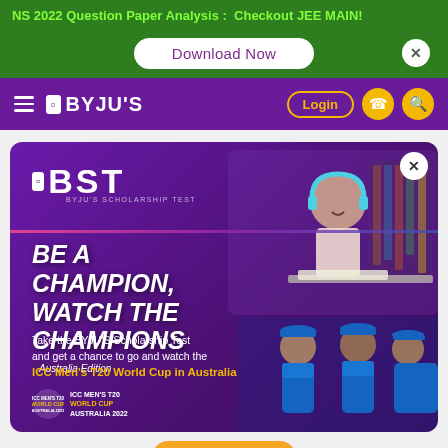NS 2022 Question Paper Analysis :  Checkout JEE MAIN!
Download Now
[Figure (screenshot): BYJU'S website navigation bar with hamburger menu, BYJU'S logo, Login button, phone icon and search icon on purple background]
[Figure (infographic): BYJU'S Scholarship Test (BST) advertisement banner. Purple background with girl wearing headphones studying. Bold italic text: BE A CHAMPION, WATCH THE CHAMPIONS. Australia Edition. Text: Take the BYJU'S Scholarship Test and get a chance to go and watch the ICC Men's T20 World Cup in Australia. ICC Men's T20 World Cup Australia 2022 logo. Cricket players visible at the bottom right.]
Take the BYJU'S Scholarship Test and get a chance to go and watch the ICC Men's T20 World Cup in Australia